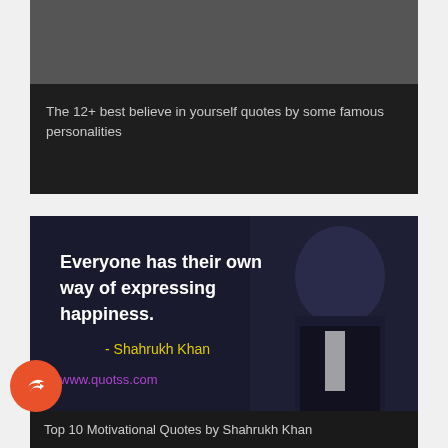[Figure (screenshot): Dark card with gray top image area and text below reading: The 12+ best believe in yourself quotes by some famous personalities]
The 12+ best believe in yourself quotes by some famous personalities
[Figure (photo): Quote image featuring Shahrukh Khan with text: Everyone has their own way of expressing happiness. - Shahrukh Khan. www.quotss.com]
Top 10 Motivational Quotes by Shahrukh Khan